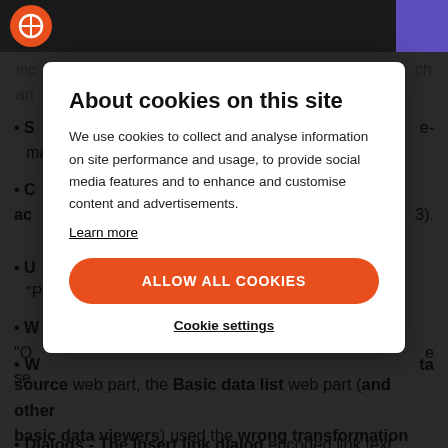S[...]
C[...] ac[...] 3).
U[...] "P[...]
W[...] "O[...] se[...]
W[...] data source web part, the Basic data list web part (and other basic data viewers) used the wrong transformation after a postback.
Dialogs - The Insert link dialog encoded link text twice for
About cookies on this site
We use cookies to collect and analyse information on site performance and usage, to provide social media features and to enhance and customise content and advertisements.
Learn more
ALLOW ALL COOKIES
Cookie settings